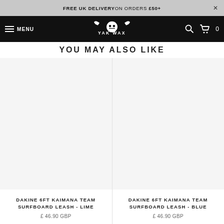FREE UK DELIVERY ON ORDERS £50+
MENU | YAK WAX | 0
YOU MAY ALSO LIKE
[Figure (photo): Product image area for Dakine 6ft Kaimana Team Surfboard Leash - Lime (light grey/white background)]
DAKINE 6FT KAIMANA TEAM SURFBOARD LEASH - LIME
£ 46.90 GBP
[Figure (photo): Product image area for Dakine 6ft Kaimana Team Surfboard Leash - Blue (light grey/white background)]
DAKINE 6FT KAIMANA TEAM SURFBOARD LEASH - BLUE
£ 46.90 GBP